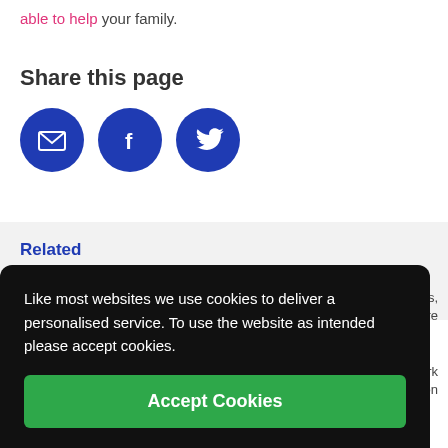able to help your family.
Share this page
[Figure (infographic): Three circular blue social share buttons: email envelope icon, Facebook 'f' icon, and Twitter bird icon]
Related
Like most websites we use cookies to deliver a personalised service. To use the website as intended please accept cookies.
Accept Cookies